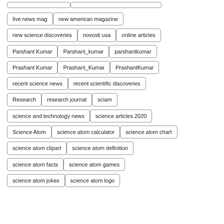live news mag
new american magazine
new science discoveries
novosti usa
online articles
Parshant Kumar
Parshant_kumar
parshantkumar
Prashant Kumar
Prashant_Kumar
PrashantKumar
recent science news
recent scientific discoveries
Research
research journal
sciam
science and technology news
science articles 2020
Science Atom
science atom calculator
science atom chart
science atom clipart
science atom definition
science atom facts
science atom games
science atom jokes
science atom logo